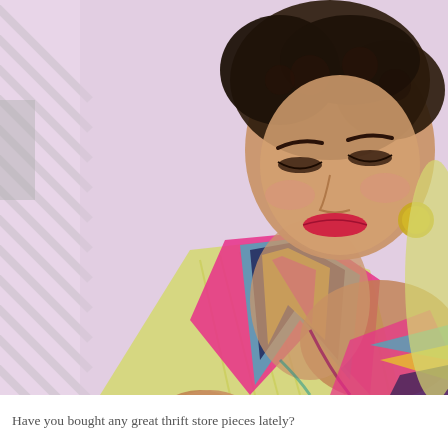[Figure (photo): A woman with short dark curly hair, wearing a yellow striped top and a colorful multicolored dress/scarf with pink, teal, navy, and yellow patterns. She has red lipstick, gold hoop earrings, and is looking downward with a slight smile. The background is a soft pink/lavender. Diagonal stripe pattern overlay on the left side of the image.]
Have you bought any great thrift store pieces lately?